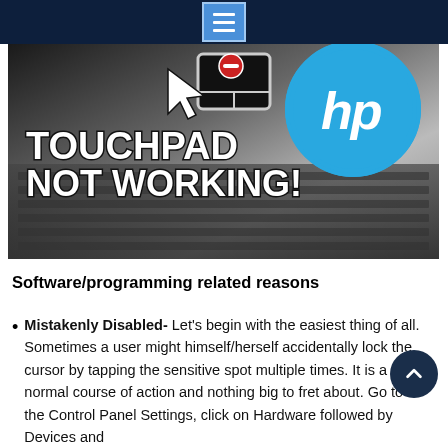Navigation menu header bar
[Figure (illustration): Hero image showing a touchpad icon with a red minus circle and a cursor arrow on the left, an HP logo (blue circle with 'hp' text) on the right, and bold white text reading 'TOUCHPAD NOT WORKING!' overlaid on a dark laptop keyboard background.]
Software/programming related reasons
Mistakenly Disabled- Let's begin with the easiest thing of all. Sometimes a user might himself/herself accidentally lock the cursor by tapping the sensitive spot multiple times. It is a normal course of action and nothing big to fret about. Go to the Control Panel Settings, click on Hardware followed by Devices and